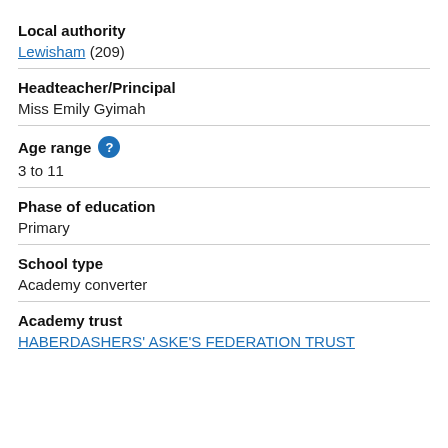Local authority
Lewisham (209)
Headteacher/Principal
Miss Emily Gyimah
Age range
3 to 11
Phase of education
Primary
School type
Academy converter
Academy trust
HABERDASHERS' ASKE'S FEDERATION TRUST